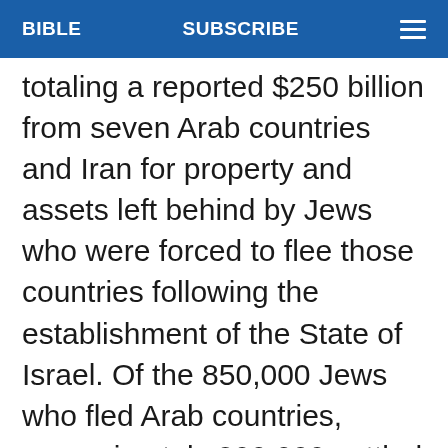BIBLE   SUBSCRIBE   ≡
totaling a reported $250 billion from seven Arab countries and Iran for property and assets left behind by Jews who were forced to flee those countries following the establishment of the State of Israel. Of the 850,000 Jews who fled Arab countries, approximately 800,000 settled in Israel. The descendants of these immigrants from Arab countries now account for a majority of Israel's Jewish